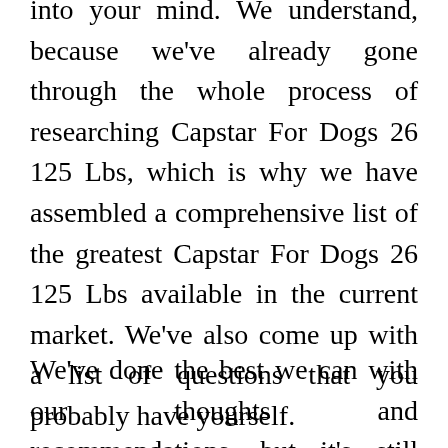into your mind. We understand, because we've already gone through the whole process of researching Capstar For Dogs 26 125 Lbs, which is why we have assembled a comprehensive list of the greatest Capstar For Dogs 26 125 Lbs available in the current market. We've also come up with a list of questions that you probably have yourself.
We've done the best we can with our thoughts and recommendations, but it's still crucial that you do thorough